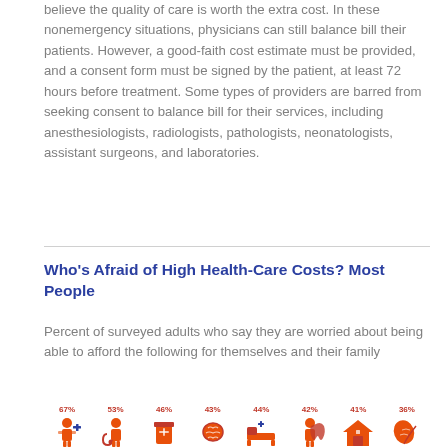believe the quality of care is worth the extra cost. In these nonemergency situations, physicians can still balance bill their patients. However, a good-faith cost estimate must be provided, and a consent form must be signed by the patient, at least 72 hours before treatment. Some types of providers are barred from seeking consent to balance bill for their services, including anesthesiologists, radiologists, pathologists, neonatologists, assistant surgeons, and laboratories.
Who's Afraid of High Health-Care Costs? Most People
Percent of surveyed adults who say they are worried about being able to afford the following for themselves and their family
[Figure (infographic): Row of 8 icons with percentage labels: 67%, 53%, 46%, 43%, 44%, 42%, 41%, 36%. Icons appear to represent different health-care cost categories shown as illustrated figures in orange/red tones.]